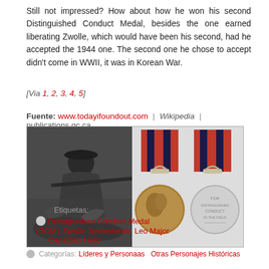Still not impressed? How about how he won his second Distinguished Conduct Medal, besides the one earned liberating Zwolle, which would have been his second, had he accepted the 1944 one. The second one he chose to accept didn't come in WWII, it was in Korean War.
[Via 1, 2, 3, 4, 5]
Fuente: www.todayifoundout.com | Wikipedia | publications.gc.ca
[Figure (photo): Left half: black and white photo of a soldier aiming a rifle. Right half: color photo of two Distinguished Conduct Medals with red and dark blue striped ribbons.]
Etiquetas:
Distinguished Conduct Medal (DCM)   Zwolle   Netherlands   Leo Major   Canadian Hero
Categorías: Líderes y Personaas   Otras Personajes Históricas